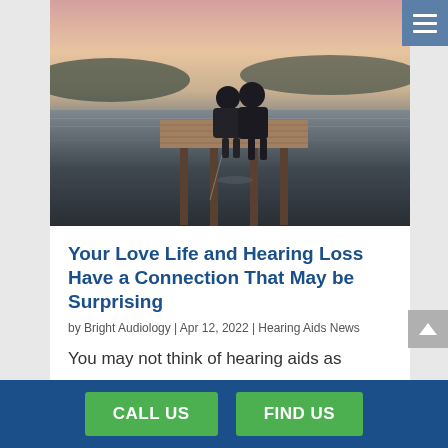[Figure (photo): Two people sitting together on a wooden dock/pier over calm water at sunset, seen from behind, with islands visible in the background.]
Your Love Life and Hearing Loss Have a Connection That May be Surprising
by Bright Audiology | Apr 12, 2022 | Hearing Aids News
You may not think of hearing aids as
CALL US   FIND US